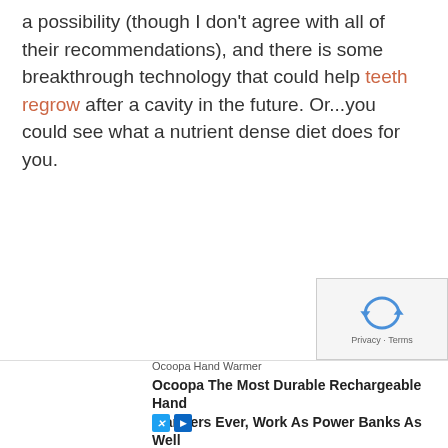a possibility (though I don't agree with all of their recommendations), and there is some breakthrough technology that could help teeth regrow after a cavity in the future. Or...you could see what a nutrient dense diet does for you.
[Figure (other): reCAPTCHA verification box with arrow/cursor icon and 'Privacy - Terms' label]
I shar... with
Ocoopa Hand Warmer
Ocoopa The Most Durable Rechargeable Hand Warmers Ever, Work As Power Banks As Well